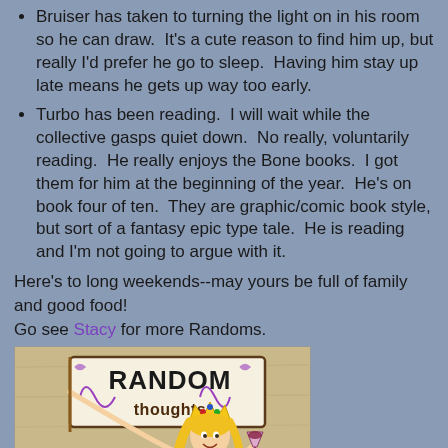Bruiser has taken to turning the light on in his room so he can draw.  It's a cute reason to find him up, but really I'd prefer he go to sleep.  Having him stay up late means he gets up way too early.
Turbo has been reading.  I will wait while the collective gasps quiet down.  No really, voluntarily reading.  He really enjoys the Bone books.  I got them for him at the beginning of the year.  He's on book four of ten.  They are graphic/comic book style, but sort of a fantasy epic type tale.  He is reading and I'm not going to argue with it.
Here's to long weekends--may yours be full of family and good food!
Go see Stacy for more Randoms.
[Figure (illustration): Cartoon image of a blonde woman wearing a crown and holding a wine glass, with a sign reading 'RANDOM thoughts' in stylized text, on a parchment/aged paper background.]